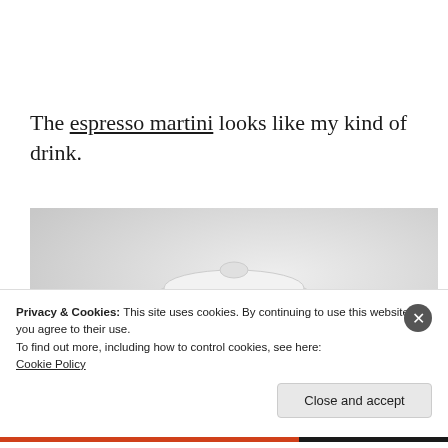The espresso martini looks like my kind of drink.
[Figure (photo): Close-up photo of a white ceramic mug/teapot with a lid, decorated with large dark navy polka dots around the lower portion, on a light background.]
Privacy & Cookies: This site uses cookies. By continuing to use this website, you agree to their use.
To find out more, including how to control cookies, see here: Cookie Policy
Close and accept